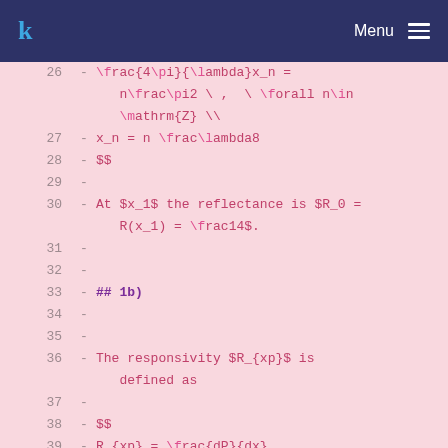k Menu
26  - \frac{4\pi}{\lambda}x_n = n\frac\pi2 \ ,  \ \forall n\in \mathrm{Z} \\
27  - x_n = n \frac\lambda8
28  - $$
29  -
30  - At $x_1$ the reflectance is $R_0 = R(x_1) = \frac14$.
31  -
32  -
33  - ## 1b)
34  -
35  -
36  - The responsivity $R_{xp}$ is defined as
37  -
38  - $$
39  - R_{xp} = \frac{dP}{dx}
40  - $$
41  -